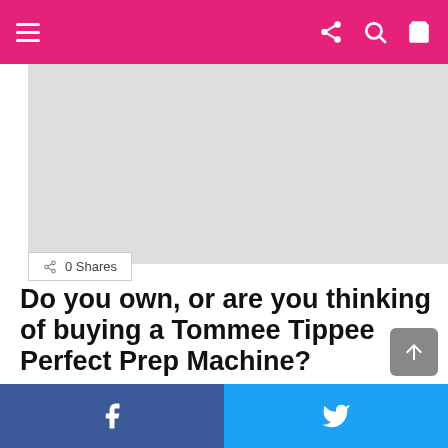Navigation bar with menu, share, search, and cart icons
[Figure (photo): Gray placeholder image area at top of article]
0 Shares
Do you own, or are you thinking of buying a Tommee Tippee Perfect Prep Machine?
by admin · 5 years ago
[Figure (photo): Large gray placeholder image with trending icon badge]
Facebook share | Twitter share bottom social bar